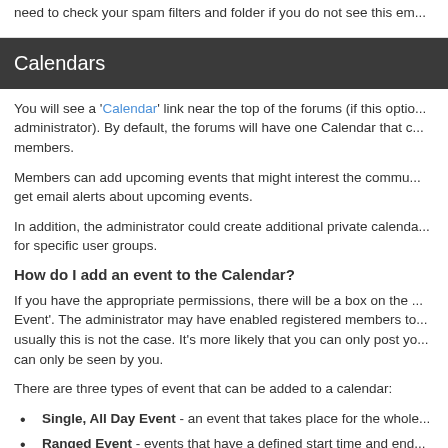need to check your spam filters and folder if you do not see this em...
Calendars
You will see a 'Calendar' link near the top of the forums (if this option has been enabled by the administrator). By default, the forums will have one Calendar that can be viewed by all members.
Members can add upcoming events that might interest the community. You can also choose to get email alerts about upcoming events.
In addition, the administrator could create additional private calendars which may only be visible for specific user groups.
How do I add an event to the Calendar?
If you have the appropriate permissions, there will be a box on the calendar page labelled 'Post New Event'. The administrator may have enabled registered members to post events for all to see, but usually this is not the case. It's more likely that you can only post your own personal events which can only be seen by you.
There are three types of event that can be added to a calendar:
Single, All Day Event - an event that takes place for the whole of one day.
Ranged Event - events that have a defined start time and end time.